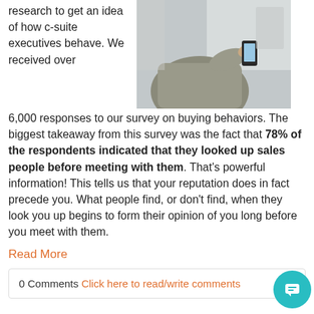research to get an idea of how c-suite executives behave. We received over 6,000 responses to our survey on buying behaviors. The biggest takeaway from this survey was the fact that 78% of the respondents indicated that they looked up sales people before meeting with them. That's powerful information! This tells us that your reputation does in fact precede you. What people find, or don't find, when they look you up begins to form their opinion of you long before you meet with them.
[Figure (photo): A person in a grey knit sweater looking at a smartphone, with a blurred office background.]
Read More
0 Comments  Click here to read/write comments